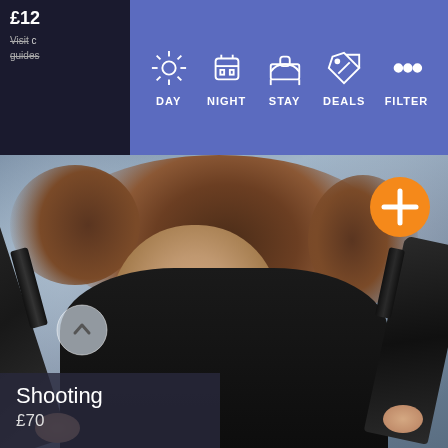£12
Visit · guides
[Figure (screenshot): Mobile app navigation bar with blue background showing icons and labels: DAY (sun icon), NIGHT (beer mug icon), STAY (bed icon), DEALS (sale tag icon), FILTER (three dots icon)]
[Figure (photo): Woman in black outfit holding two guns with smoky background]
Shooting
£70